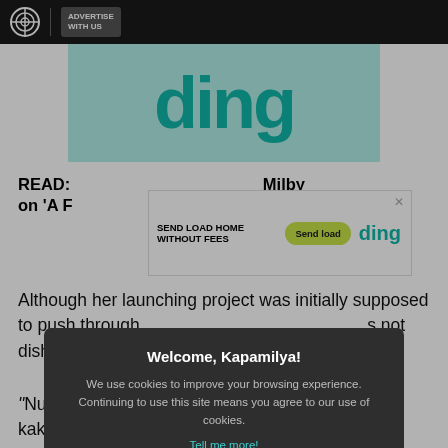ABS-CBN | ADVERTISE WITH US
[Figure (illustration): Teal/cyan advertisement banner showing partial text 'ding' in large dark teal letters on light blue background]
READ: ... Milby on 'A Family Affair': 'Crush na crush ko siya dati!'
[Figure (screenshot): Inline ding advertisement: SEND LOAD HOME WITHOUT FEES | Send load button | ding logo | close X]
Although her launching project was initially supposed to push through... not disheartened...
“Nung nag-s... ited kasi kakabalik ko... -CBN sa akin. It’s ver... network and I was so ex... n God’s perfect time talaga because it wasn’t my time kasi dumating yung pandemic, dumating yung COVID, nag-lockdown tayo. So I learned more things habang naka-
[Figure (screenshot): Cookie consent modal: Welcome, Kapamilya! We use cookies to improve your browsing experience. Continuing to use this site means you agree to our use of cookies. Tell me more! | I AGREE! button]